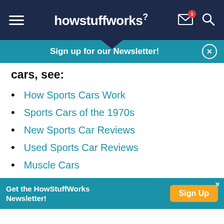howstuffworks
Sign up for our Newsletter!
cars, see:
How Sports Cars Work
Sports Cars of the 1970s
New Sports Car Reviews
Used Sports Car Reviews
Muscle Cars
How Ferrari Works
How the Ford Mustang Works
Get the HowStuffWorks Newsletter! Sign Up